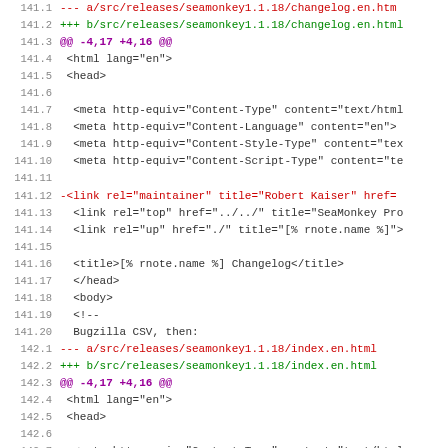Unified diff view of source code changes for seamonkey changelog and index files, lines 141.1 through 142.13
[Figure (screenshot): A unified diff view showing changes to seamonkey release files, with red deleted lines, green added lines, magenta hunk headers, and gray line numbers]